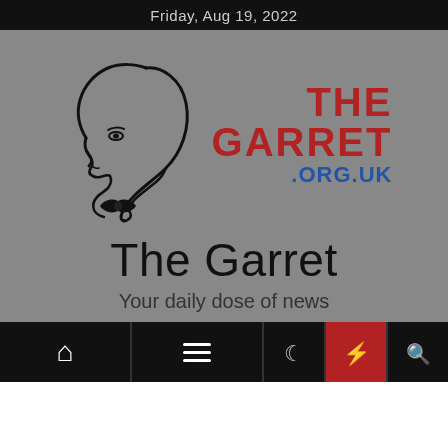Friday, Aug 19, 2022
[Figure (logo): The Garret logo: line drawing of a bald man's profile facing left wearing a bow tie, with 'THE GARRET .ORG.UK' text beside it in bold red and blue]
The Garret
Your daily dose of news
Navigation bar with home, menu, moon, flash, and search icons